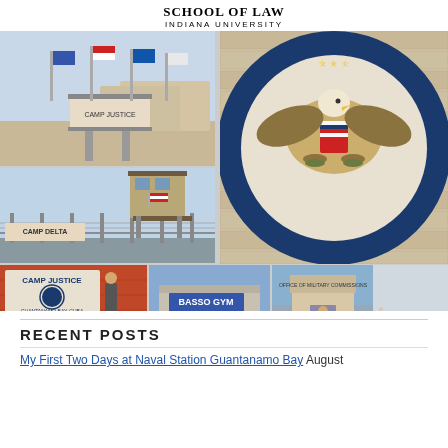SCHOOL OF LAW
INDIANA UNIVERSITY
[Figure (photo): Collage of photos: top-left shows a military base entrance with flags and tents; middle-left shows Camp Delta guard tower with US flag and razor wire fence; large right image shows the National Security Agency mosaic seal (eagle with shield, stars, text 'National Security Agency United States of America'); bottom strip shows Camp Justice sign with person, Basso Gym building, person standing at a doorway at Guantanamo Bay, and a cat or animal on the ground.]
RECENT POSTS
My First Two Days at Naval Station Guantanamo Bay August